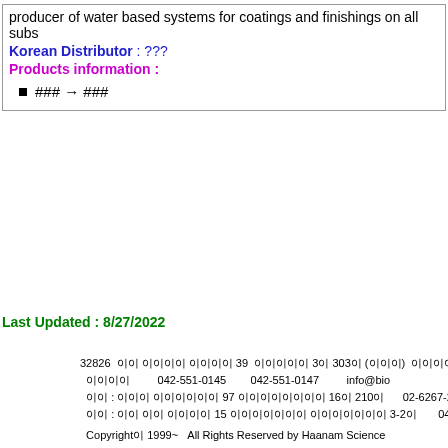producer of water based systems for coatings and finishings on all subs
Korean Distributor : ???
Products information :
### → ###
Last Updated : 8/27/2022
32826  이 충청남도 충남 39  양수기 3층 303호 (본사)  홍길동아이오
대표이사  042-551-0145  042-551-0147  info@bio
본사 : 000 이00이이이이 97 0이000이이 16이 210이  02-6267-2112  02-6
지사 : 이이 이이 이이이이 15 이이이이이이 이이이이이이 3-2이  043-731-0146
Copyright이 1999~  All Rights Reserved by Haanam Science